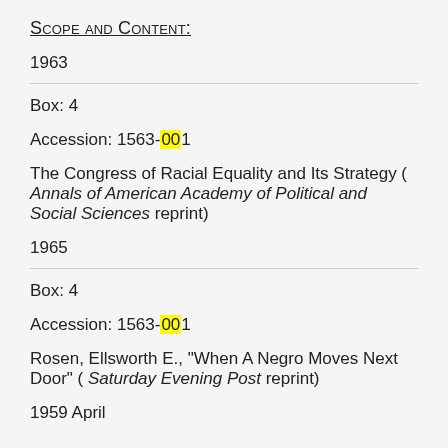Scope and Content:
1963
Box: 4
Accession: 1563-001
The Congress of Racial Equality and Its Strategy ( Annals of American Academy of Political and Social Sciences reprint)
1965
Box: 4
Accession: 1563-001
Rosen, Ellsworth E., "When A Negro Moves Next Door" ( Saturday Evening Post reprint)
1959 April